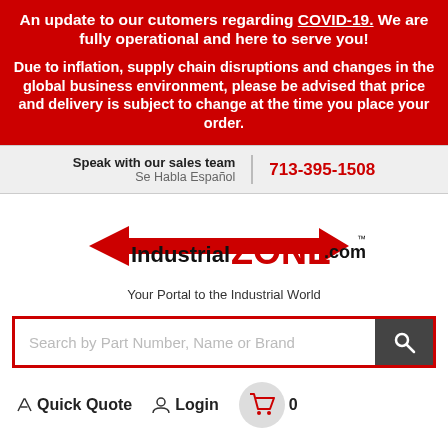An update to our cutomers regarding COVID-19. We are fully operational and here to serve you!
Due to inflation, supply chain disruptions and changes in the global business environment, please be advised that price and delivery is subject to change at the time you place your order.
Speak with our sales team
Se Habla Español
713-395-1508
[Figure (logo): IndustrialZONE.com logo with red double-ended arrow and tagline 'Your Portal to the Industrial World']
Search by Part Number, Name or Brand
Quick Quote   Login   0